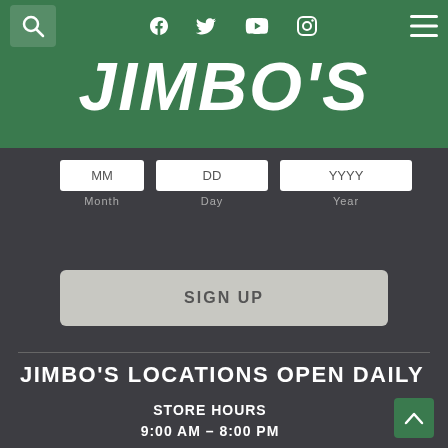Jimbo's website header with search, social media icons (Facebook, Twitter, YouTube, Instagram), and hamburger menu
JIMBO'S
[Figure (screenshot): Date entry form fields: MM (Month), DD (Day), YYYY (Year)]
SIGN UP
JIMBO'S LOCATIONS OPEN DAILY
STORE HOURS
9:00 AM – 8:00 PM